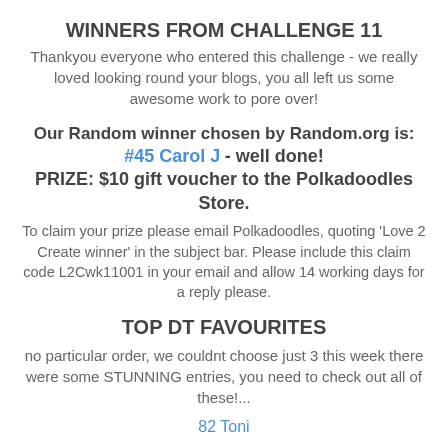WINNERS FROM CHALLENGE 11
Thankyou everyone who entered this challenge - we really loved looking round your blogs, you all left us some awesome work to pore over!
Our Random winner chosen by Random.org is: #45 Carol J - well done! PRIZE: $10 gift voucher to the Polkadoodles Store.
To claim your prize please email Polkadoodles, quoting 'Love 2 Create winner' in the subject bar. Please include this claim code L2Cwk11001 in your email and allow 14 working days for a reply please.
TOP DT FAVOURITES
no particular order, we couldnt choose just 3 this week there were some STUNNING entries, you need to check out all of these!...
82 Toni